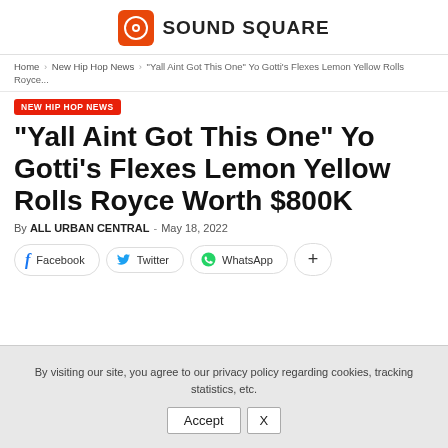SOUND SQUARE
Home › New Hip Hop News › "Yall Aint Got This One" Yo Gotti's Flexes Lemon Yellow Rolls Royce...
NEW HIP HOP NEWS
"Yall Aint Got This One" Yo Gotti's Flexes Lemon Yellow Rolls Royce Worth $800K
By ALL URBAN CENTRAL - May 18, 2022
Facebook   Twitter   WhatsApp   +
By visiting our site, you agree to our privacy policy regarding cookies, tracking statistics, etc.
Accept   X